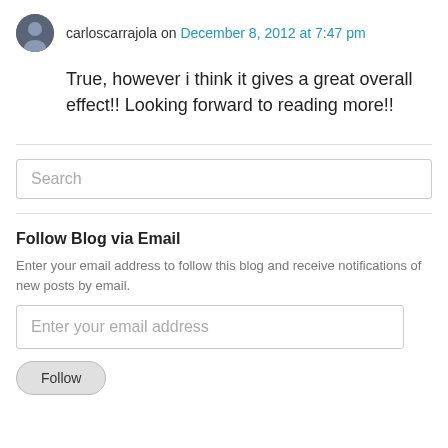carloscarrajola on December 8, 2012 at 7:47 pm
True, however i think it gives a great overall effect!! Looking forward to reading more!!
Search
Follow Blog via Email
Enter your email address to follow this blog and receive notifications of new posts by email.
Enter your email address
Follow